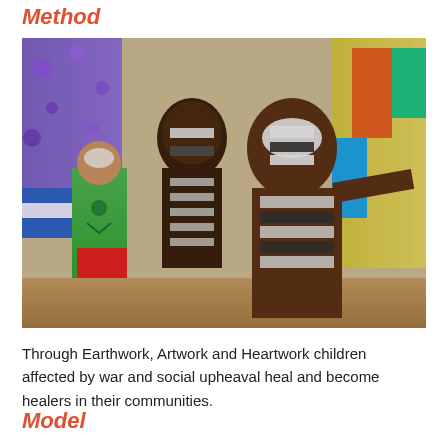Method
[Figure (photo): Children with body paint in traditional and artistic designs, standing in a colorful room with painted backdrops. One child in the foreground has black and white striped face and body paint; another wears a green costume with drawn-on designs.]
Through Earthwork, Artwork and Heartwork children affected by war and social upheaval heal and become healers in their communities.
Model